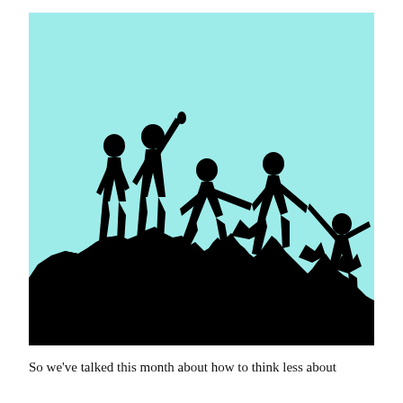[Figure (illustration): Silhouette illustration of five people on a rocky hillside helping each other climb up. Two figures stand at the top left on a raised rocky ledge, one with arm raised. In the middle, two figures reach out and hold hands across a gap in the rocks. On the lower right, a fifth figure reaches upward toward the chain of people. The background is a light cyan/turquoise color. The figures and rocks are solid black silhouettes.]
So we've talked this month about how to think less about